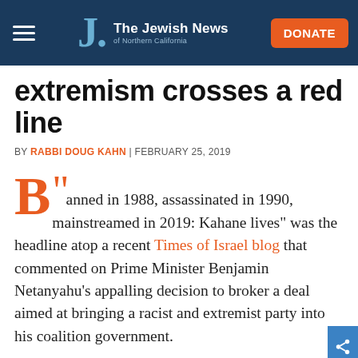The Jewish News of Northern California
extremism crosses a red line
BY RABBI DOUG KAHN | FEBRUARY 25, 2019
“Banned in 1988, assassinated in 1990, mainstreamed in 2019: Kahane lives” was the headline atop a recent Times of Israel blog that commented on Prime Minister Benjamin Netanyahu’s appalling decision to broker a deal aimed at bringing a racist and extremist party into his coalition government.
For 50 years, I have taken on the challenge of making the case for Israel — from my days as a